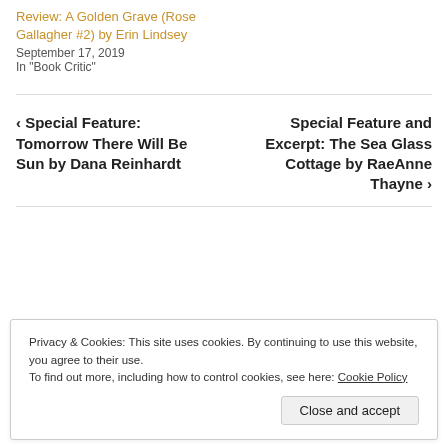Review: A Golden Grave (Rose Gallagher #2) by Erin Lindsey
September 17, 2019
In "Book Critic"
‹ Special Feature: Tomorrow There Will Be Sun by Dana Reinhardt
Special Feature and Excerpt: The Sea Glass Cottage by RaeAnne Thayne ›
Privacy & Cookies: This site uses cookies. By continuing to use this website, you agree to their use.
To find out more, including how to control cookies, see here: Cookie Policy